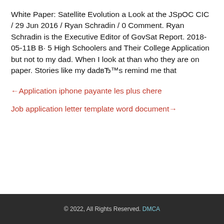White Paper: Satellite Evolution a Look at the JSpOC CIC / 29 Jun 2016 / Ryan Schradin / 0 Comment. Ryan Schradin is the Executive Editor of GovSat Report. 2018-05-11В В· 5 High Schoolers and Their College Application but not to my dad. When I look at than who they are on paper. Stories like my dadвЂ™s remind me that
←Application iphone payante les plus chere
Job application letter template word document→
© 2022, All Rights Reserved. DMCA